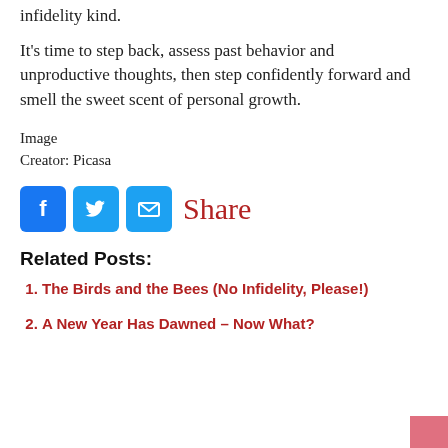infidelity kind.
It's time to step back, assess past behavior and unproductive thoughts, then step confidently forward and smell the sweet scent of personal growth.
Image
Creator: Picasa
[Figure (other): Social share buttons: Facebook (blue), Twitter (blue), Email (blue), and Share text in dark red]
Related Posts:
The Birds and the Bees (No Infidelity, Please!)
A New Year Has Dawned – Now What?